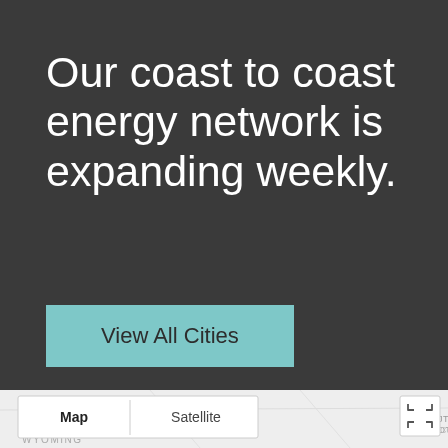Our coast to coast energy network is expanding weekly.
View All Cities
[Figure (map): US map showing energy network coverage with Map/Satellite toggle controls and fullscreen button. Visible region shows South Dakota and Wyoming state labels on a light grey map background.]